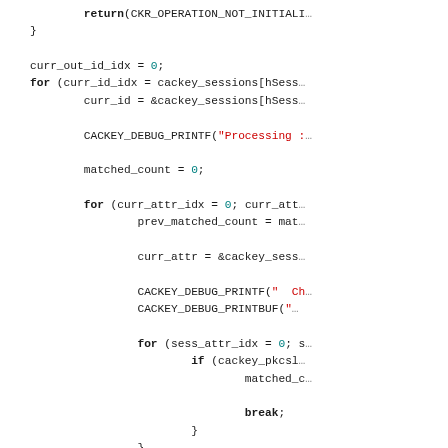Source code snippet in C showing a loop with CACKEY_DEBUG_PRINTF calls, attribute matching logic, and break statements.